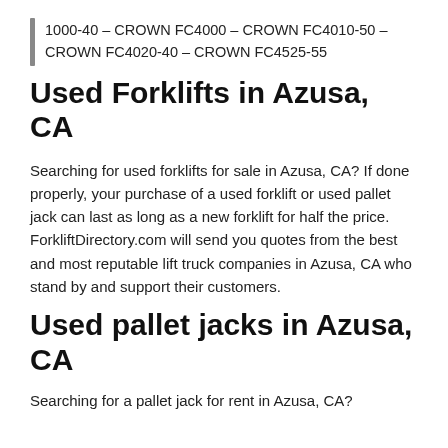1000-40 – CROWN FC4000 – CROWN FC4010-50 – CROWN FC4020-40 – CROWN FC4525-55
Used Forklifts in Azusa, CA
Searching for used forklifts for sale in Azusa, CA? If done properly, your purchase of a used forklift or used pallet jack can last as long as a new forklift for half the price. ForkliftDirectory.com will send you quotes from the best and most reputable lift truck companies in Azusa, CA who stand by and support their customers.
Used pallet jacks in Azusa, CA
Searching for a pallet jack for rent in Azusa, CA?